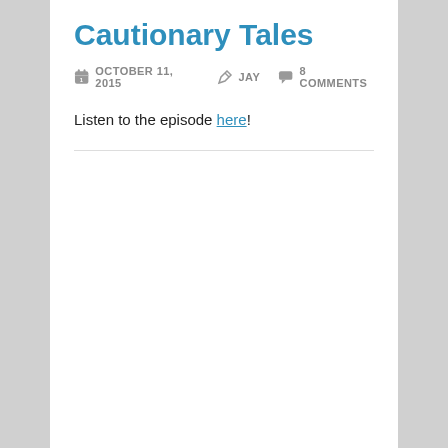Cautionary Tales
OCTOBER 11, 2015   JAY   8 COMMENTS
Listen to the episode here!